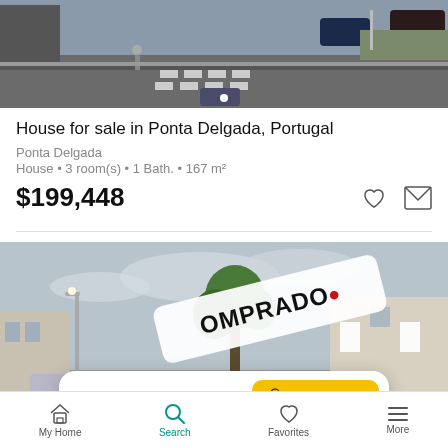[Figure (photo): Top portion of real estate listing showing aerial/street view photo with white dot indicator]
House for sale in Ponta Delgada, Portugal
Ponta Delgada
House • 3 room(s) • 1 Bath. • 167 m²
$199,448
[Figure (photo): Street view photo of property with COMPRADO overlay sign and Save search popup]
My Home  Search  Favorites  More